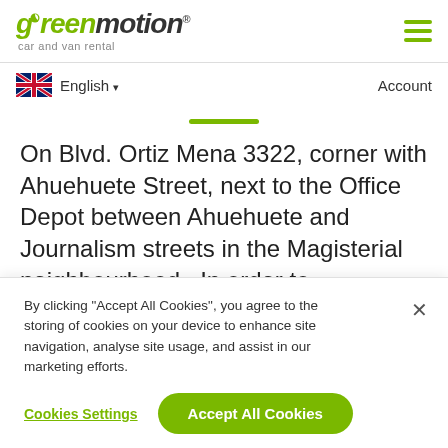[Figure (logo): Green Motion car and van rental logo with green leaf, green italic 'green' and dark italic 'motion' text, registered trademark symbol, and 'car and van rental' subtitle]
English ▾
Account
On Blvd. Ortiz Mena 3322, corner with Ahuehuete Street, next to the Office Depot between Ahuehuete and Journalism streets in the Magisterial neighbourhood . In order to
By clicking “Accept All Cookies”, you agree to the storing of cookies on your device to enhance site navigation, analyse site usage, and assist in our marketing efforts.
Cookies Settings
Accept All Cookies